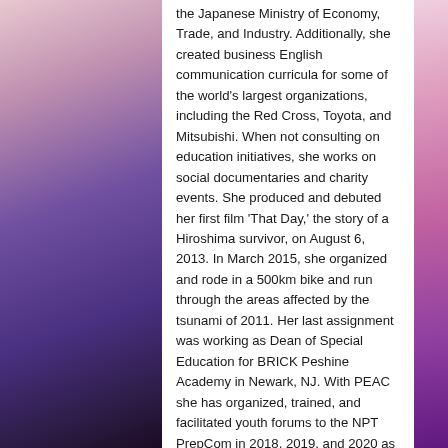the Japanese Ministry of Economy, Trade, and Industry. Additionally, she created business English communication curricula for some of the world's largest organizations, including the Red Cross, Toyota, and Mitsubishi. When not consulting on education initiatives, she works on social documentaries and charity events. She produced and debuted her first film 'That Day,' the story of a Hiroshima survivor, on August 6, 2013. In March 2015, she organized and rode in a 500km bike and run through the areas affected by the tsunami of 2011. Her last assignment was working as Dean of Special Education for BRICK Peshine Academy in Newark, NJ. With PEAC she has organized, trained, and facilitated youth forums to the NPT PrepCom in 2018, 2019, and 2020 as well as a High-Level